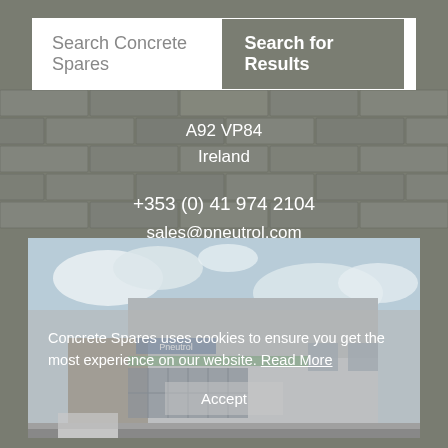[Figure (screenshot): Search bar UI with text input 'Search Concrete Spares' and a dark grey button 'Search for Results']
A92 VP84
Ireland
+353 (0) 41 974 2104
sales@pneutrol.com
[Figure (photo): Exterior photo of a modern commercial building with a Pneutrol sign, large glass windows, and blue sky with clouds]
Concrete Spares uses cookies to ensure you get the most experience on our website. Read More
Accept